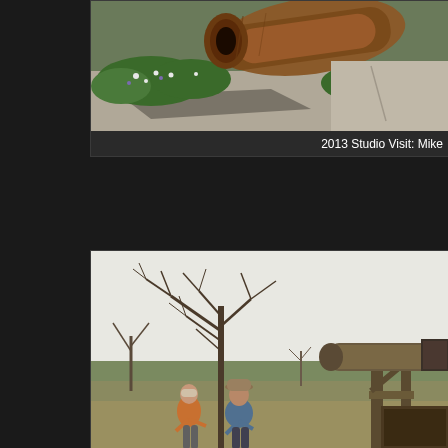[Figure (photo): Close-up photo of a large rusty metal sculpture or cannon barrel resting on a stone slab, surrounded by low flowering ground cover plants with small white and purple flowers, on a concrete/stone surface. Dark background visible.]
2013 Studio Visit: Mike
[Figure (photo): Outdoor photo of two men standing and talking near a large metal sculptural piece or industrial equipment (resembling a cannon or large pipe mounted on a wooden/metal frame). Trees without leaves visible in background, open field, overcast sky.]